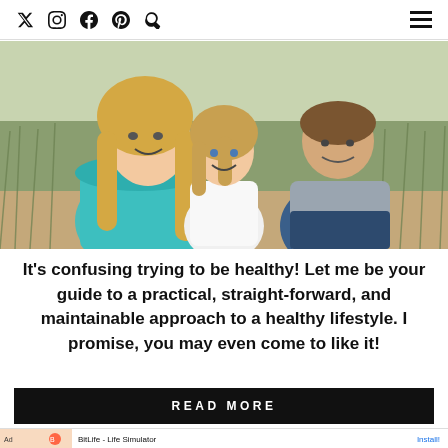Social media icons (Twitter, Instagram, Facebook, Pinterest, Search) and hamburger menu
[Figure (photo): Family photo of a woman in a teal off-shoulder dress, a young girl in a white dress, and a man in a grey shirt, sitting outdoors in a grassy field setting]
It's confusing trying to be healthy! Let me be your guide to a practical, straight-forward, and maintainable approach to a healthy lifestyle. I promise, you may even come to like it!
READ MORE
[Figure (screenshot): Ad banner: BitLife - Life Simulator with Install button]